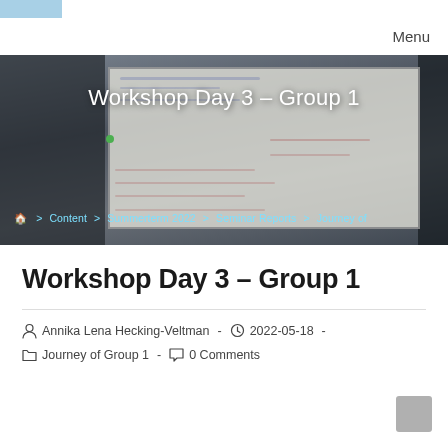Menu
[Figure (photo): Hero banner image showing a whiteboard with handwritten notes, overlaid with the text 'Workshop Day 3 – Group 1' and breadcrumb navigation: Home > Content > Summerterm 2022 > Seminar Reports > Journey of]
Workshop Day 3 – Group 1
Annika Lena Hecking-Veltman  -  2022-05-18  -  Journey of Group 1  -  0 Comments